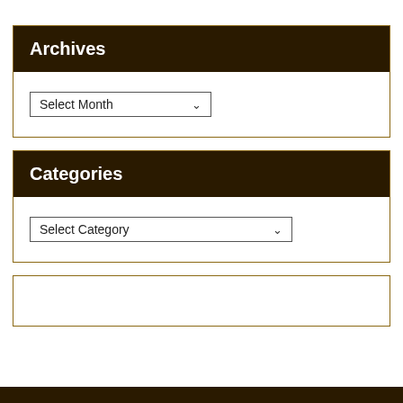Archives
Select Month
Categories
Select Category